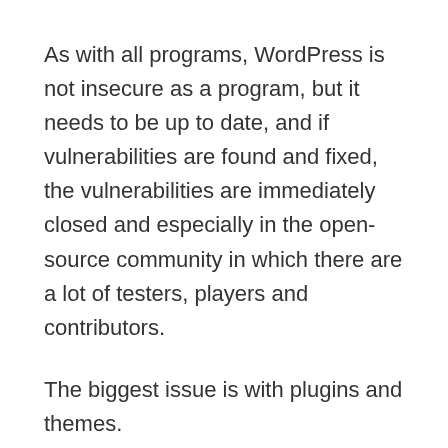As with all programs, WordPress is not insecure as a program, but it needs to be up to date, and if vulnerabilities are found and fixed, the vulnerabilities are immediately closed and especially in the open-source community in which there are a lot of testers, players and contributors.
The biggest issue is with plugins and themes.
If these aren’t supported You’ll notice that they could cause serious issues for the site they’re hosting on, since any issues remain vulnerabilities.
We’ve covered how to protect your WordPress